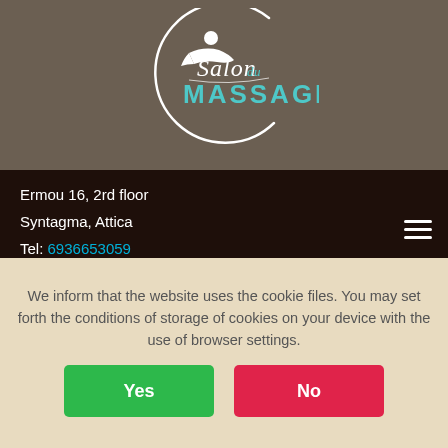[Figure (logo): Salon du Massage logo with circular white line and reclining person silhouette, cursive text 'Salon du' and bold teal text 'MASSAGE']
Ermou 16, 2rd floor
Syntagma, Attica
Tel: 6936653059
Tel: 2114187173
We inform that the website uses the cookie files. You may set forth the conditions of storage of cookies on your device with the use of browser settings.
Yes
No